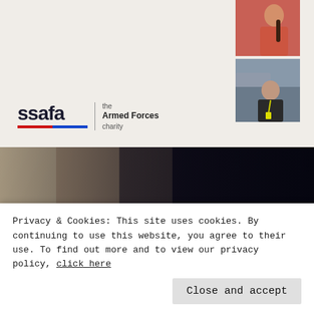[Figure (photo): Thumbnail photo of person in red/orange top, top-right of page]
[Figure (photo): Thumbnail photo of person with dark jacket and lanyard, top-right of page below first thumbnail]
[Figure (logo): SSAFA - the Armed Forces charity logo with red and blue underline bar]
[Figure (photo): Hero image of elderly bearded man seated indoors with overlay text 'Rebuilding lives after sight loss' and SSAFA badge logo bottom-left]
Privacy & Cookies: This site uses cookies. By continuing to use this website, you agree to their use. To find out more and to view our privacy policy, click here
Close and accept